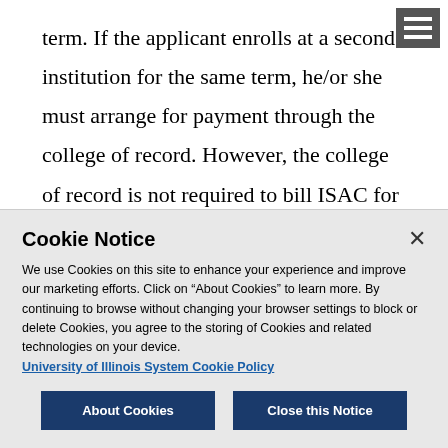term. If the applicant enrolls at a second institution for the same term, he/or she must arrange for payment through the college of record. However, the college of record is not required to bill ISAC for charges incurred at
Cookie Notice
We use Cookies on this site to enhance your experience and improve our marketing efforts. Click on “About Cookies” to learn more. By continuing to browse without changing your browser settings to block or delete Cookies, you agree to the storing of Cookies and related technologies on your device. University of Illinois System Cookie Policy